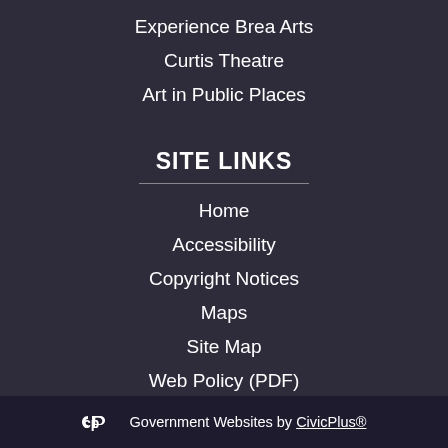Experience Brea Arts
Curtis Theatre
Art in Public Places
SITE LINKS
Home
Accessibility
Copyright Notices
Maps
Site Map
Web Policy (PDF)
Government Websites by CivicPlus®